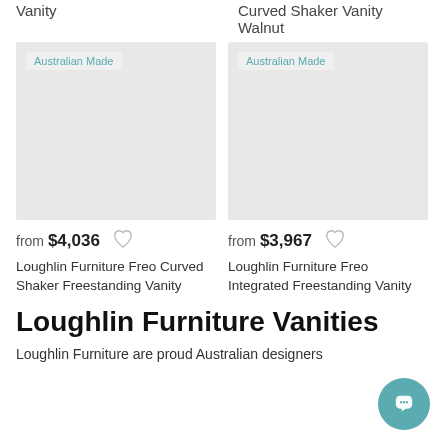Vanity
Curved Shaker Vanity Walnut
[Figure (photo): Product image placeholder with Australian Made badge - left card]
[Figure (photo): Product image placeholder with Australian Made badge - right card]
from $4,036
Loughlin Furniture Freo Curved Shaker Freestanding Vanity
from $3,967
Loughlin Furniture Freo Integrated Freestanding Vanity
Loughlin Furniture Vanities
Loughlin Furniture are proud Australian designers